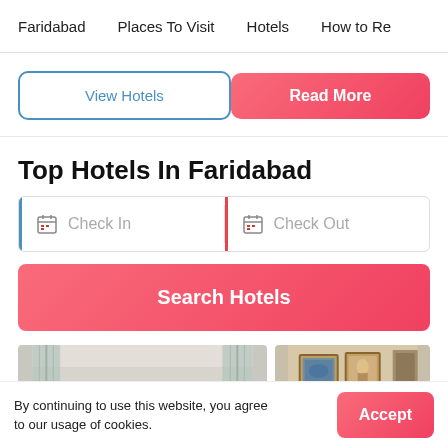Faridabad   Places To Visit   Hotels   How to Re
View Hotels
Read More
Top Hotels In Faridabad
Check In
Check Out
Search Hotels
[Figure (photo): Hotel room interior — light curtains and ceiling]
[Figure (photo): Hotel room interior — framed paintings on wall]
By continuing to use this website, you agree to our usage of cookies.
Accept